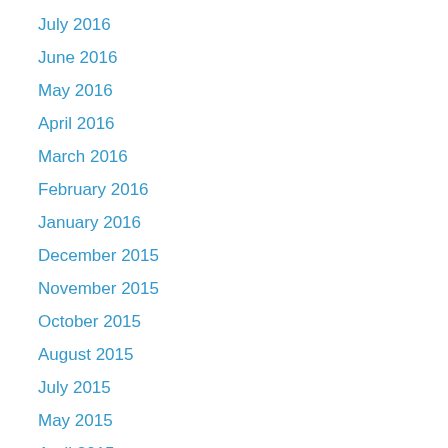July 2016
June 2016
May 2016
April 2016
March 2016
February 2016
January 2016
December 2015
November 2015
October 2015
August 2015
July 2015
May 2015
April 2015
March 2015
February 2015
January 2015
December 2014
November 2014
October 2014